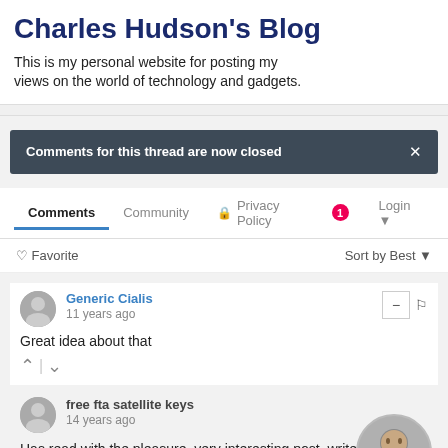Charles Hudson's Blog
This is my personal website for posting my views on the world of technology and gadgets.
Comments for this thread are now closed
Comments  Community  Privacy Policy  1  Login
Favorite  Sort by Best
Generic Cialis
11 years ago
Great idea about that
free fta satellite keys
14 years ago
Has read with the pleasure, very interesting post, write soon, good luck to you!